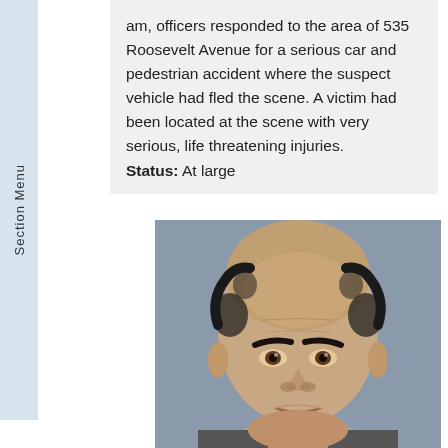am, officers responded to the area of 535 Roosevelt Avenue for a serious car and pedestrian accident where the suspect vehicle had fled the scene. A victim had been located at the scene with very serious, life threatening injuries. Status: At large
[Figure (photo): Mugshot photograph of a middle-aged bald man with dark eyebrows, looking directly at camera against a gray background.]